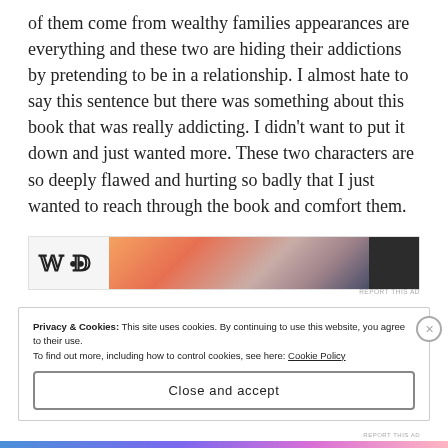of them come from wealthy families appearances are everything and these two are hiding their addictions by pretending to be in a relationship. I almost hate to say this sentence but there was something about this book that was really addicting. I didn't want to put it down and just wanted more. These two characters are so deeply flawed and hurting so badly that I just wanted to reach through the book and comfort them.
[Figure (other): Advertisement banner with a logo on the left side, a colorful gradient image in the center, and a dark rectangle on the right. 'REPORT THIS AD' text appears below.]
Privacy & Cookies: This site uses cookies. By continuing to use this website, you agree to their use.
To find out more, including how to control cookies, see here: Cookie Policy
Close and accept